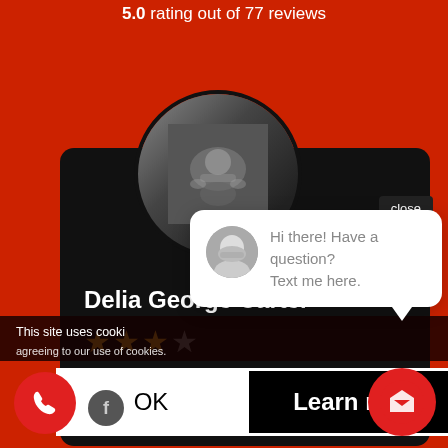5.0 rating out of 77 reviews
[Figure (screenshot): Profile card for Delia George Carter on dark background, with circular profile photo showing a person doing push-ups, star rating, and partial review text]
Delia George Carter
★★★★ (star rating)
Josh and ... after the ...
See More
close
This site uses cookies ... agreeing to our use of cookies.
[Figure (screenshot): Chat bubble popup with avatar photo of bearded man and text: Hi there! Have a question? Text me here.]
Hi there! Have a question? Text me here.
OK
Learn more